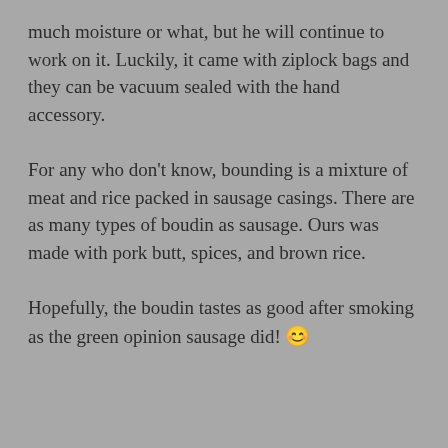much moisture or what, but he will continue to work on it. Luckily, it came with ziplock bags and they can be vacuum sealed with the hand accessory.
For any who don't know, bounding is a mixture of meat and rice packed in sausage casings. There are as many types of boudin as sausage. Ours was made with pork butt, spices, and brown rice.
Hopefully, the boudin tastes as good after smoking as the green opinion sausage did! 😊